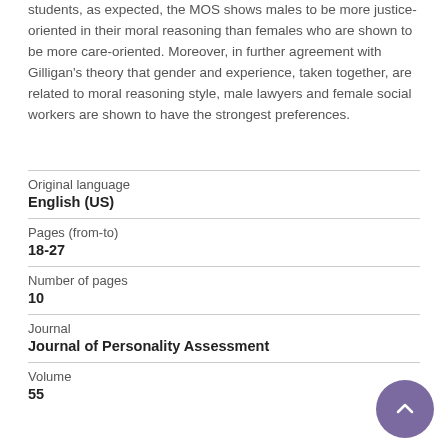students, as expected, the MOS shows males to be more justice-oriented in their moral reasoning than females who are shown to be more care-oriented. Moreover, in further agreement with Gilligan's theory that gender and experience, taken together, are related to moral reasoning style, male lawyers and female social workers are shown to have the strongest preferences.
| Original language |  |
| English (US) |  |
| Pages (from-to) |  |
| 18-27 |  |
| Number of pages |  |
| 10 |  |
| Journal |  |
| Journal of Personality Assessment |  |
| Volume |  |
| 55 |  |